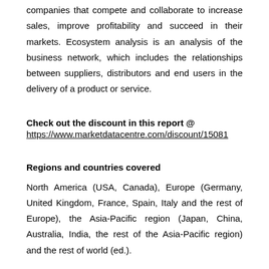companies that compete and collaborate to increase sales, improve profitability and succeed in their markets. Ecosystem analysis is an analysis of the business network, which includes the relationships between suppliers, distributors and end users in the delivery of a product or service.
Check out the discount in this report @
https://www.marketdatacentre.com/discount/15081
Regions and countries covered
North America (USA, Canada), Europe (Germany, United Kingdom, France, Spain, Italy and the rest of Europe), the Asia-Pacific region (Japan, China, Australia, India, the rest of the Asia-Pacific region) and the rest of world (ed.).
Report coverage
Immunoassay market dynamics, impact of Covid-19 on the